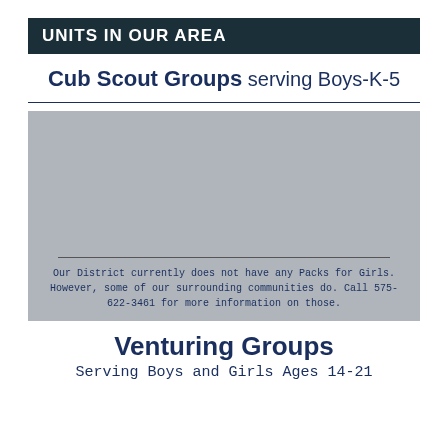UNITS IN OUR AREA
Cub Scout Groups serving Boys-K-5
[Figure (other): Gray placeholder box with a horizontal divider line and text below it reading: Our District currently does not have any Packs for Girls. However, some of our surrounding communities do. Call 575-622-3461 for more information on those.]
Venturing Groups
Serving Boys and Girls Ages 14-21